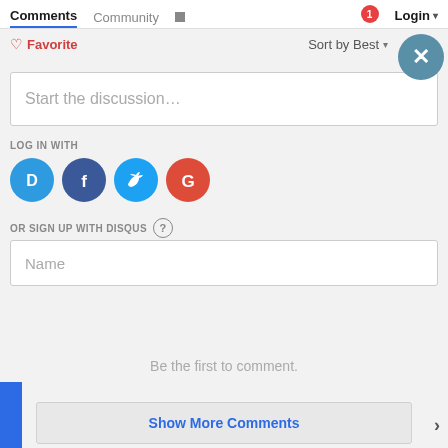Comments   Community   Login
♡ Favorite   Sort by Best ▾
Start the discussion…
LOG IN WITH
[Figure (logo): Social login icons: Disqus (blue D), Facebook (dark blue f), Twitter (blue bird), Google (red G)]
OR SIGN UP WITH DISQUS ?
Name
Be the first to comment.
Show More Comments